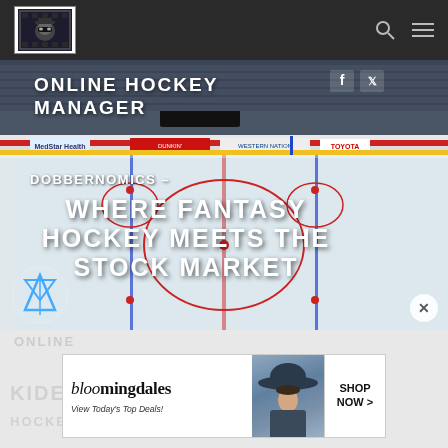Online Hockey Manager
[Figure (screenshot): Hockey rink arena aerial view screenshot used as hero background image with text overlays]
DOBBERNOMICS – WHERE FANTASY HOCKEY MEETS THE STOCK MARKET
[Figure (photo): Bloomingdale's advertisement banner showing a woman in a hat with text 'View Today's Top Deals!' and 'SHOP NOW >' button]